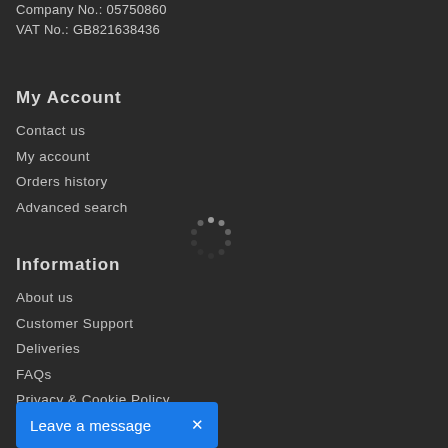Company No.: 05750860
VAT No.: GB821638436
My Account
Contact us
My account
Orders history
Advanced search
[Figure (other): Loading spinner dots in a circular arrangement]
Information
About us
Customer Support
Deliveries
FAQs
Privacy & Cookie Policy
Returns & Cancellation
Warranty
Leave a message ✕